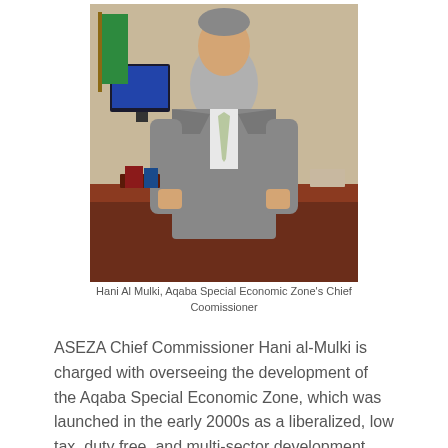[Figure (photo): Portrait photo of Hani Al Mulki, a man in a gray suit with a light green tie, standing in an office with a desk, computer monitor, and green flag visible in the background.]
Hani Al Mulki, Aqaba Special Economic Zone's Chief Coomissioner
ASEZA Chief Commissioner Hani al-Mulki is charged with overseeing the development of the Aqaba Special Economic Zone, which was launched in the early 2000s as a liberalized, low tax, duty free, and multi-sector development area.